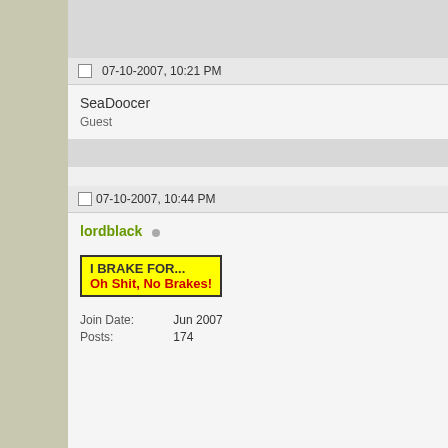07-10-2007, 10:21 PM
SeaDoocer
Guest
07-10-2007, 10:44 PM
lordblack
[Figure (illustration): Yellow bumper sticker with black border reading 'I BRAKE FOR... Oh Shit, No Brakes!']
Join Date:  Jun 2007
Posts:  174